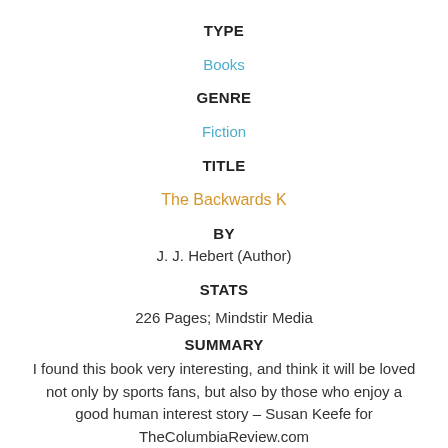TYPE
Books
GENRE
Fiction
TITLE
The Backwards K
BY
J. J. Hebert (Author)
STATS
226 Pages; Mindstir Media
SUMMARY
I found this book very interesting, and think it will be loved not only by sports fans, but also by those who enjoy a good human interest story – Susan Keefe for TheColumbiaReview.com